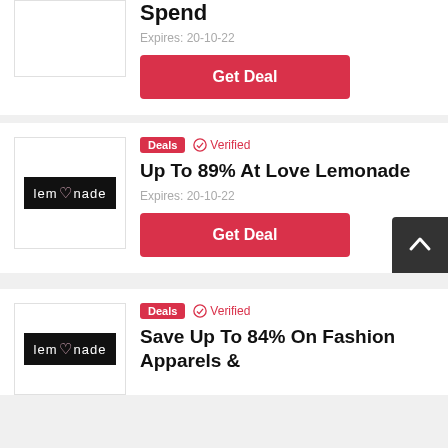Spend
Expires: 20-10-22
Get Deal
Deals  Verified
Up To 89% At Love Lemonade
Expires: 20-10-22
Get Deal
Deals  Verified
Save Up To 84% On Fashion Apparels &